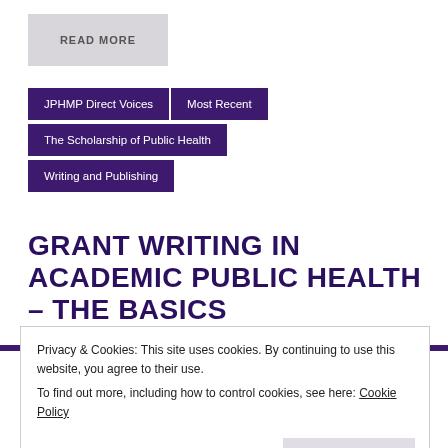READ MORE
JPHMP Direct Voices
Most Recent
The Scholarship of Public Health
Writing and Publishing
GRANT WRITING IN ACADEMIC PUBLIC HEALTH – THE BASICS
Posted on April 5, 2016 by jphmp.direct
Privacy & Cookies: This site uses cookies. By continuing to use this website, you agree to their use.
To find out more, including how to control cookies, see here: Cookie Policy
Close and accept
[Figure (illustration): Watermark text overlay reading 'Grant Writing in Academic Public Health' in light purple, with coins/pills visible at bottom right]